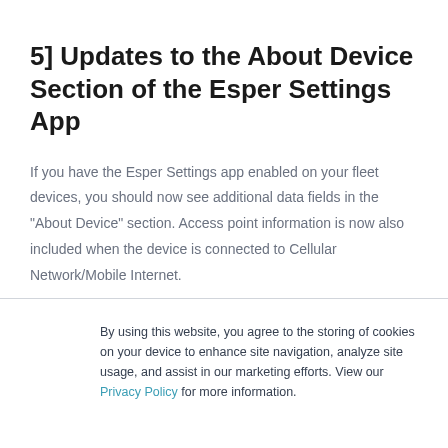5] Updates to the About Device Section of the Esper Settings App
If you have the Esper Settings app enabled on your fleet devices, you should now see additional data fields in the “About Device” section. Access point information is now also included when the device is connected to Cellular Network/Mobile Internet.
By using this website, you agree to the storing of cookies on your device to enhance site navigation, analyze site usage, and assist in our marketing efforts. View our Privacy Policy for more information.
Accept